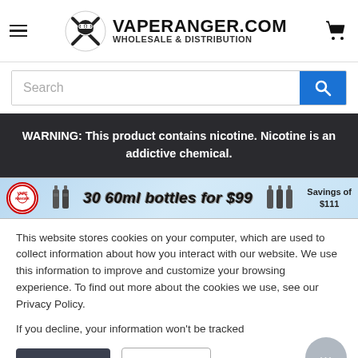VAPERANGER.COM WHOLESALE & DISTRIBUTION
Search
WARNING: This product contains nicotine. Nicotine is an addictive chemical.
[Figure (infographic): Promotional banner: 30 60ml bottles for $99 - Savings of $111]
This website stores cookies on your computer, which are used to collect information about how you interact with our website. We use this information to improve and customize your browsing experience. To find out more about the cookies we use, see our Privacy Policy.

If you decline, your information won't be tracked
Accept
Decline